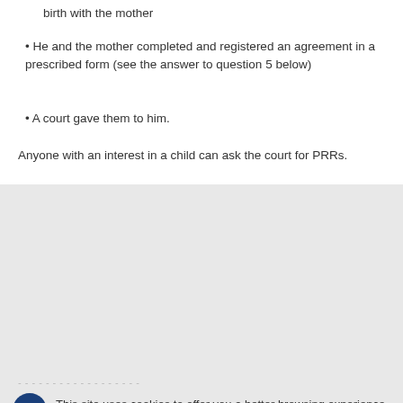birth with the mother
• He and the mother completed and registered an agreement in a prescribed form (see the answer to question 5 below)
• A court gave them to him.
Anyone with an interest in a child can ask the court for PRRs.
This site uses cookies to offer you a better browsing experience. Find out more on how we use cookies.